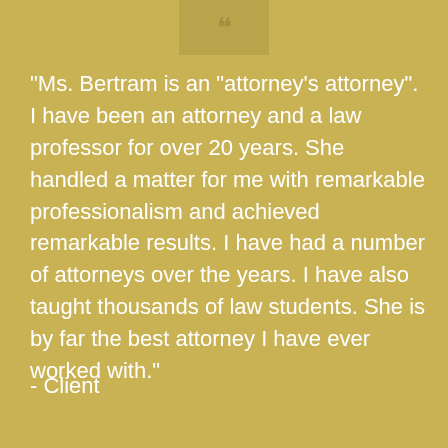[Figure (illustration): Partial avatar/profile image placeholder box at top center]
"Ms. Bertram is an "attorney's attorney". I have been an attorney and a law professor for over 20 years. She handled a matter for me with remarkable professionalism and achieved remarkable results. I have had a number of attorneys over the years. I have also taught thousands of law students. She is by far the best attorney I have ever worked with."
- Client